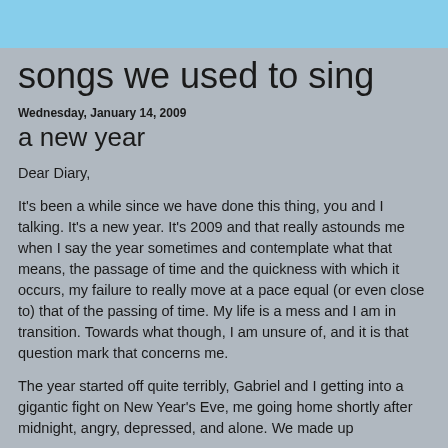songs we used to sing
Wednesday, January 14, 2009
a new year
Dear Diary,
It's been a while since we have done this thing, you and I talking. It's a new year. It's 2009 and that really astounds me when I say the year sometimes and contemplate what that means, the passage of time and the quickness with which it occurs, my failure to really move at a pace equal (or even close to) that of the passing of time. My life is a mess and I am in transition. Towards what though, I am unsure of, and it is that question mark that concerns me.
The year started off quite terribly, Gabriel and I getting into a gigantic fight on New Year's Eve, me going home shortly after midnight, angry, depressed, and alone. We made up...